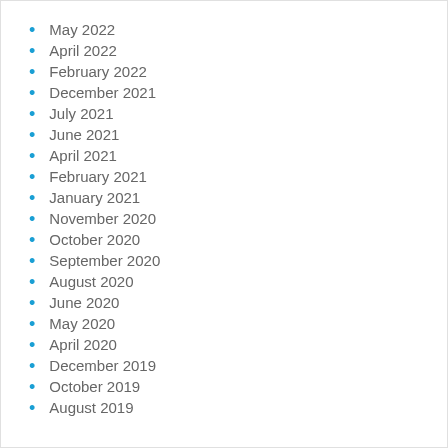May 2022
April 2022
February 2022
December 2021
July 2021
June 2021
April 2021
February 2021
January 2021
November 2020
October 2020
September 2020
August 2020
June 2020
May 2020
April 2020
December 2019
October 2019
August 2019